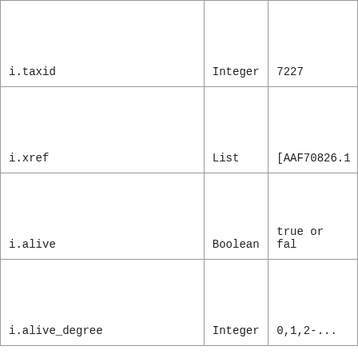| i.taxid | Integer | 7227 |
| i.xref | List | [AAF70826.1 |
| i.alive | Boolean | true or fal |
| i.alive_degree | Integer | 0,1,2-... |